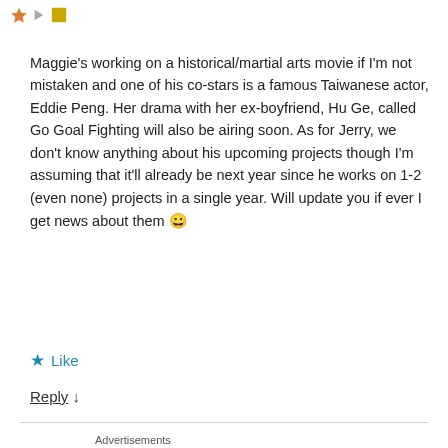[Figure (other): Three small icons: orange star, grey play button triangle, gold/orange square]
Maggie's working on a historical/martial arts movie if I'm not mistaken and one of his co-stars is a famous Taiwanese actor, Eddie Peng. Her drama with her ex-boyfriend, Hu Ge, called Go Goal Fighting will also be airing soon. As for Jerry, we don't know anything about his upcoming projects though I'm assuming that it'll already be next year since he works on 1-2 (even none) projects in a single year. Will update you if ever I get news about them 😀
★ Like
Reply ↓
Advertisements
[Figure (other): Dark navy advertisement banner reading 'Opinions. We all have them!' with WordPress and another circular logo on the right]